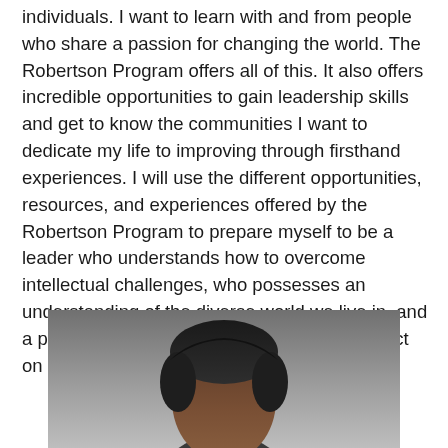individuals. I want to learn with and from people who share a passion for changing the world. The Robertson Program offers all of this. It also offers incredible opportunities to gain leadership skills and get to know the communities I want to dedicate my life to improving through firsthand experiences. I will use the different opportunities, resources, and experiences offered by the Robertson Program to prepare myself to be a leader who understands how to overcome intellectual challenges, who possesses an understanding of the diverse world we live in, and a precise vision of how to have a lasting impact on the world.
[Figure (photo): Portrait photo of a person with dark hair against a grey background, cropped to show head and upper shoulders.]